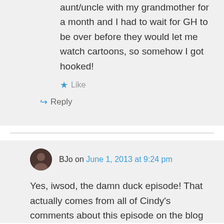aunt/uncle with my grandmother for a month and I had to wait for GH to be over before they would let me watch cartoons, so somehow I got hooked!
★ Like
↪ Reply
BJo on June 1, 2013 at 9:24 pm
Yes, iwsod, the damn duck episode! That actually comes from all of Cindy's comments about this episode on the blog